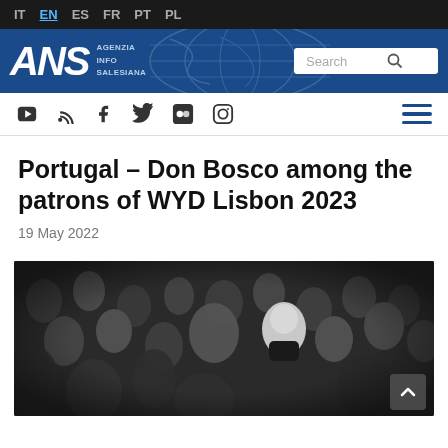IT EN ES FR PT PL
[Figure (logo): ANS Agenzia Info Salesiana logo with globe background and search bar]
[Figure (infographic): Social media icon bar: YouTube, RSS, Facebook, Twitter, Flickr, Instagram, and hamburger menu]
Portugal – Don Bosco among the patrons of WYD Lisbon 2023
19 May 2022
[Figure (photo): Black and white photograph of a crowd of people with a priest in clerical collar visible in the center]